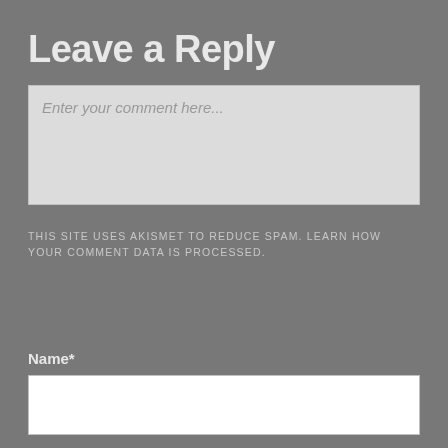Leave a Reply
Enter your comment here...
THIS SITE USES AKISMET TO REDUCE SPAM. LEARN HOW YOUR COMMENT DATA IS PROCESSED.
Name*
Email*